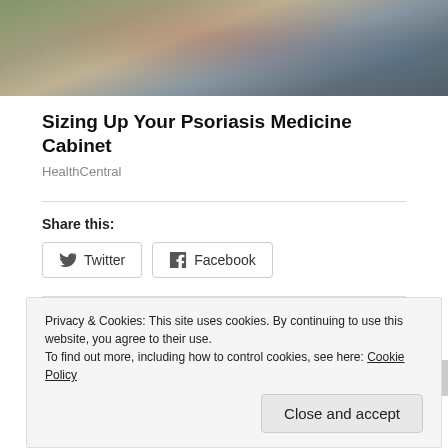[Figure (photo): Photo of a person sitting, wearing a plaid shirt and jeans, with a blurred colorful background]
Sizing Up Your Psoriasis Medicine Cabinet
HealthCentral
Share this:
Twitter Facebook
Loading...
Privacy & Cookies: This site uses cookies. By continuing to use this website, you agree to their use.
To find out more, including how to control cookies, see here: Cookie Policy
Close and accept